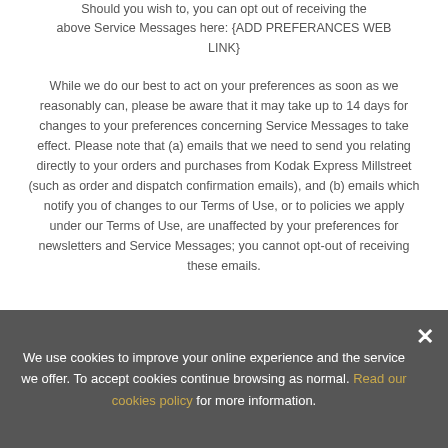Should you wish to, you can opt out of receiving the above Service Messages here: {ADD PREFERANCES WEB LINK}
While we do our best to act on your preferences as soon as we reasonably can, please be aware that it may take up to 14 days for changes to your preferences concerning Service Messages to take effect. Please note that (a) emails that we need to send you relating directly to your orders and purchases from Kodak Express Millstreet (such as order and dispatch confirmation emails), and (b) emails which notify you of changes to our Terms of Use, or to policies we apply under our Terms of Use, are unaffected by your preferences for newsletters and Service Messages; you cannot opt-out of receiving these emails.
We use cookies to improve your online experience and the service we offer. To accept cookies continue browsing as normal. Read our cookies policy for more information.